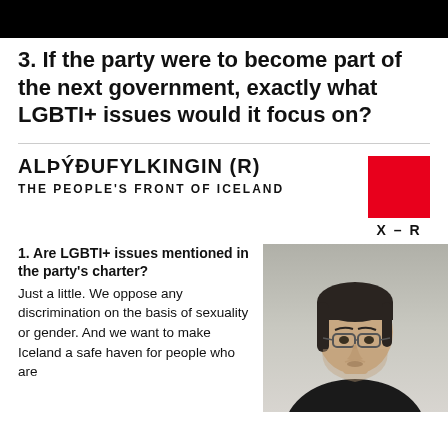3. If the party were to become part of the next government, exactly what LGBTI+ issues would it focus on?
ALÞÝÐUFYLKINGIN (R)
THE PEOPLE'S FRONT OF ICELAND
X – R
1. Are LGBTI+ issues mentioned in the party's charter?
Just a little. We oppose any discrimination on the basis of sexuality or gender. And we want to make Iceland a safe haven for people who are
[Figure (photo): Portrait photo of a man with dark hair tied back, wearing glasses and a black sweater, looking serious against a light background.]